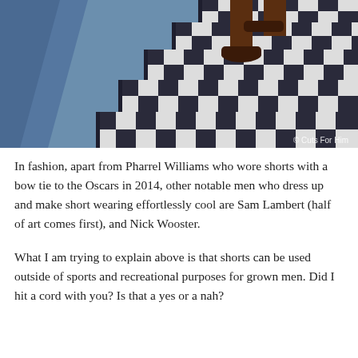[Figure (photo): Photo of a person's legs wearing dark loafers, standing on black-and-white checkered stairs with a blue wall/ramp on the left side. Watermark reads '© Cuts For Him' in bottom right corner.]
In fashion, apart from Pharrel Williams who wore shorts with a bow tie to the Oscars in 2014, other notable men who dress up and make short wearing effortlessly cool are Sam Lambert (half of art comes first), and Nick Wooster.
What I am trying to explain above is that shorts can be used outside of sports and recreational purposes for grown men. Did I hit a cord with you? Is that a yes or a nah?